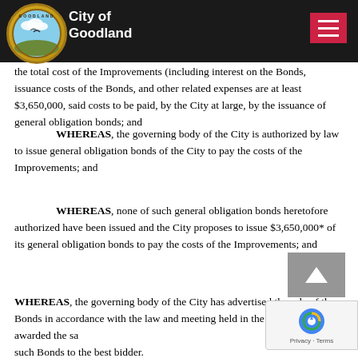City of Goodland
the total cost of the Improvements (including interest on the Bonds, issuance costs of the Bonds, and other related expenses are at least $3,650,000, said costs to be paid, by the City at large, by the issuance of general obligation bonds; and
WHEREAS, the governing body of the City is authorized by law to issue general obligation bonds of the City to pay the costs of the Improvements; and
WHEREAS, none of such general obligation bonds heretofore authorized have been issued and the City proposes to issue $3,650,000* of its general obligation bonds to pay the costs of the Improvements; and
WHEREAS, the governing body of the City has advertised the sale of the Bonds in accordance with the law and meeting held in the City on this date awarded the sale of such Bonds to the best bidder.